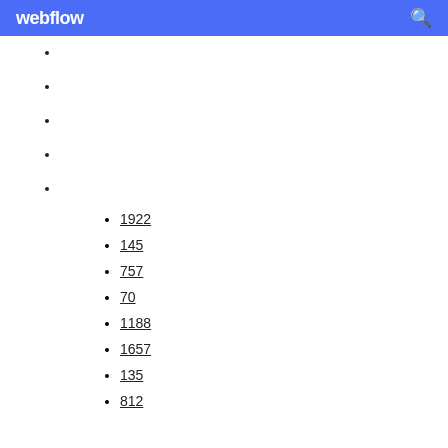webflow
1922
145
757
70
1188
1657
135
812